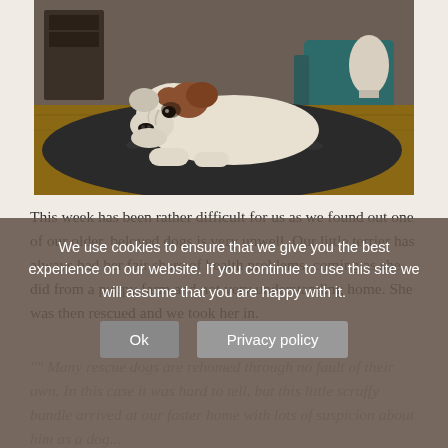[Figure (photo): A white and brown bulldog lying on a dark textured rug on a hardwood floor in a living room setting]
This week has been rather difficult for us as we found out one of our older, beloved dogs is very unwell. Our little terrier has always had her fair share of health problems, coming as she did from a puppy farm and not very understanding home. She was then rescued and we took her in.
Many rescue dogs are rehomed through no fault of their own. In this case it was hard to tell, but this little scruffy bundle arrived at our foster home with lots of suspicion about humans and dogs...
We use cookies to ensure that we give you the best experience on our website. If you continue to use this site we will assume that you are happy with it.